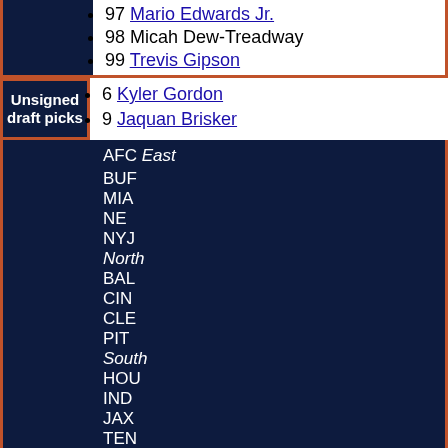97 Mario Edwards Jr.
98 Micah Dew-Treadway
99 Trevis Gipson
Unsigned draft picks
6 Kyler Gordon
9 Jaquan Brisker
AFC East
BUF
MIA
NE
NYJ
North
BAL
CIN
CLE
PIT
South
HOU
IND
JAX
TEN
West
DEN
KC
LV